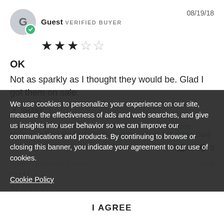Guest VERIFIED BUYER  08/19/18
★★★☆☆ (3 out of 5 stars)
OK
Not as sparkly as I thought they would be. Glad I got them on sale.
SHARE |
08/19/18 Reviewed on: 1.80 CTW DEW Oval Forever One Moissanite Four Prong Solitaire Stud Earrings in 14K White Gold
👍 2  👎 0
We use cookies to personalize your experience on our site, measure the effectiveness of ads and web searches, and give us insights into user behavior so we can improve our communications and products. By continuing to browse or closing this banner, you indicate your agreement to our use of cookies.
Cookie Policy
I AGREE